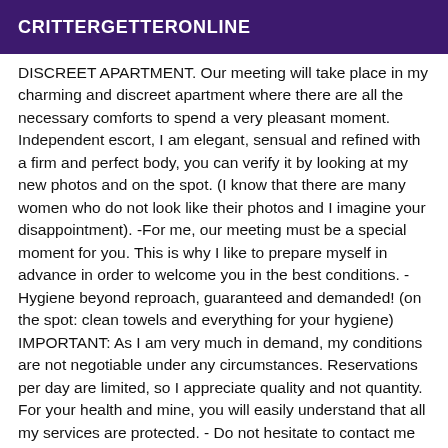CRITTERGETTERONLINE
DISCREET APARTMENT. Our meeting will take place in my charming and discreet apartment where there are all the necessary comforts to spend a very pleasant moment. Independent escort, I am elegant, sensual and refined with a firm and perfect body, you can verify it by looking at my new photos and on the spot. (I know that there are many women who do not look like their photos and I imagine your disappointment). -For me, our meeting must be a special moment for you. This is why I like to prepare myself in advance in order to welcome you in the best conditions. -Hygiene beyond reproach, guaranteed and demanded! (on the spot: clean towels and everything for your hygiene) IMPORTANT: As I am very much in demand, my conditions are not negotiable under any circumstances. Reservations per day are limited, so I appreciate quality and not quantity. For your health and mine, you will easily understand that all my services are protected. - Do not hesitate to contact me